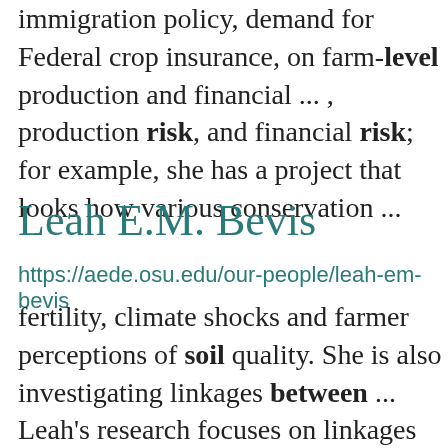immigration policy, demand for Federal crop insurance, on farm-level production and financial ... , production risk, and financial risk; for example, she has a project that looks how various conservation ...
Leah E.M. Bevis
https://aede.osu.edu/our-people/leah-em-bevis
fertility, climate shocks and farmer perceptions of soil quality. She is also investigating linkages between ... Leah's research focuses on linkages between human welfare and biophysical systems in poor countries, ... a subject at the nexus of development and resource economics. A few